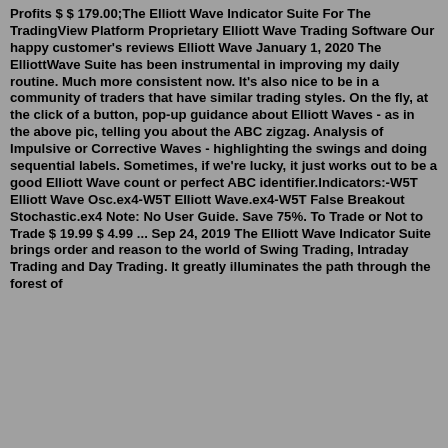Profits $ $ 179.00;The Elliott Wave Indicator Suite For The TradingView Platform Proprietary Elliott Wave Trading Software Our happy customer's reviews Elliott Wave January 1, 2020 The ElliottWave Suite has been instrumental in improving my daily routine. Much more consistent now. It's also nice to be in a community of traders that have similar trading styles. On the fly, at the click of a button, pop-up guidance about Elliott Waves - as in the above pic, telling you about the ABC zigzag. Analysis of Impulsive or Corrective Waves - highlighting the swings and doing sequential labels. Sometimes, if we're lucky, it just works out to be a good Elliott Wave count or perfect ABC identifier.Indicators:-W5T Elliott Wave Osc.ex4-W5T Elliott Wave.ex4-W5T False Breakout Stochastic.ex4 Note: No User Guide. Save 75%. To Trade or Not to Trade $ 19.99 $ 4.99 ... Sep 24, 2019 The Elliott Wave Indicator Suite brings order and reason to the world of Swing Trading, Intraday Trading and Day Trading. It greatly illuminates the path through the forest of